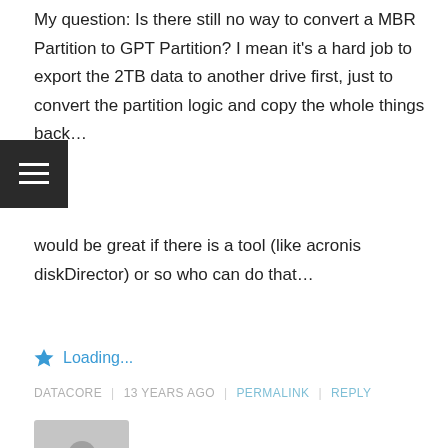My question: Is there still no way to convert a MBR Partition to GPT Partition? I mean it's a hard job to export the 2TB data to another drive first, just to convert the partition logic and copy the whole things back…
would be great if there is a tool (like acronis diskDirector) or so who can do that…
★ Loading...
DATACORE | 13 YEARS AGO | PERMALINK | REPLY
[Figure (illustration): Grey avatar placeholder image with silhouette of a person]
Hello Carlton.

Thank you for the informative article.

I just recently setup a new Raid 5 array and I had a few questions as I want to ensure I won't run into any problems if I try to add new HDDs in the future.